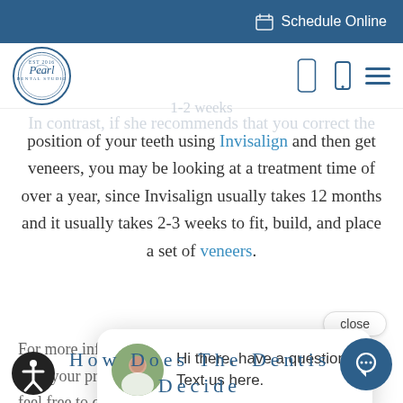Schedule Online
[Figure (logo): Pearl Dental Studio circular logo with script text and decorative border]
1-2 weeks
In contrast, if she recommends that you correct the position of your teeth using Invisalign and then get veneers, you may be looking at a treatment time of over a year, since Invisalign usually takes 12 months and it usually takes 2-3 weeks to fit, build, and place a set of veneers.
close
For more infor long your proce feel free to co
Hi there, have a question? Text us here.
How Does The Dentist Decide